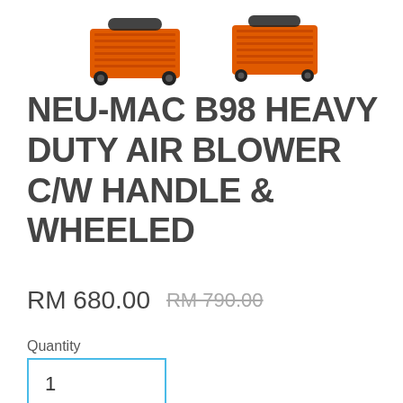[Figure (photo): Two orange heavy duty air blowers with wheels and handles, viewed from front-side angle]
NEU-MAC B98 HEAVY DUTY AIR BLOWER C/W HANDLE & WHEELED
RM 680.00  RM 790.00 (strikethrough)
Quantity
1
Add to Cart